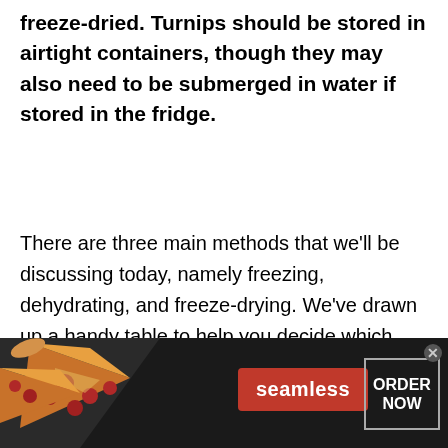freeze-dried. Turnips should be stored in airtight containers, though they may also need to be submerged in water if stored in the fridge.
There are three main methods that we'll be discussing today, namely freezing, dehydrating, and freeze-drying. We've drawn up a handy table to help you decide which method would suit you best. The table will include the fridge information for convenience, although we won't talk about that in any depth in this article.
[Figure (infographic): Seamless food delivery advertisement banner showing pizza slices on the left, a red 'seamless' button in the center, and an 'ORDER NOW' button on the right with a close (x) button in the top right corner.]